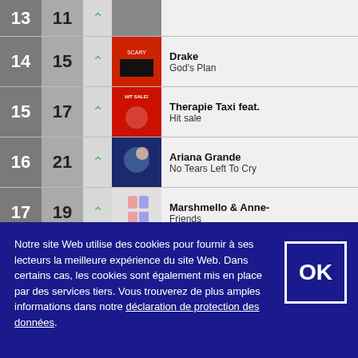| Rank Prev | Rank Curr | Trend | Cover | Artist | Song |
| --- | --- | --- | --- | --- | --- |
| 14 | 15 | ↑ |  | Drake | God's Plan |
| 15 | 17 | ↑ |  | Therapie Taxi feat. | Hit sale |
| 16 | 21 | ↑ |  | Ariana Grande | No Tears Left To Cry |
| 17 | 19 | ↑ |  | Marshmello & Anne-Marie | Friends |
| 18 | 24 | ↑ |  | Rudimental feat. Jess Glynne, Macklemore & Dan Caplen | These Days |
| 19 | 20 | ↑ |  | Tom Walker | Leave A Light On |
Notre site Web utilise des cookies pour fournir à ses lecteurs la meilleure expérience du site Web. Dans certains cas, les cookies sont également mis en place par des services tiers. Vous trouverez de plus amples informations dans notre déclaration de protection des données.